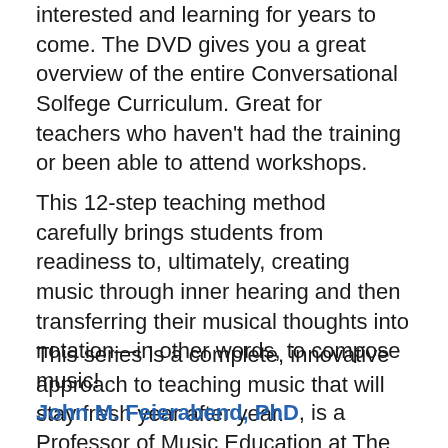interested and learning for years to come. The DVD gives you a great overview of the entire Conversational Solfege Curriculum. Great for teachers who haven't had the training or been able to attend workshops.
This 12-step teaching method carefully brings students from readiness to, ultimately, creating music through inner hearing and then transferring their musical thoughts into notation—in other words, to compose music!
This series is a complete, innovative approach to teaching music that will stay fresh year after year.
John M. Feierabend, PhD, is a Professor of Music Education at The Hartt School of the University of Hartford and is a past President of the Organization